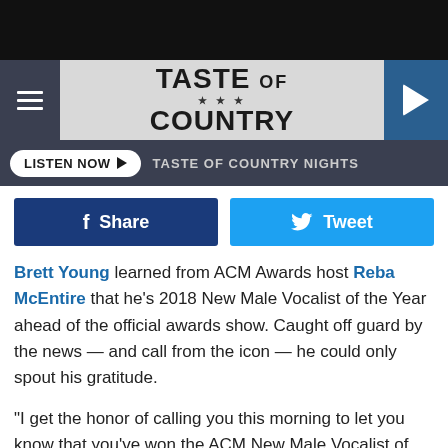[Figure (screenshot): Taste of Country website header with hamburger menu, logo, and play button]
LISTEN NOW ► TASTE OF COUNTRY NIGHTS
[Figure (infographic): Facebook Share and Twitter Tweet buttons]
Brett Young learned from ACM Awards host Reba McEntire that he's 2018 New Male Vocalist of the Year ahead of the official awards show. Caught off guard by the news — and call from the icon — he could only spout his gratitude.
"I get the honor of calling you this morning to let you know that you've won the ACM New Male Vocalist of the Year," she tells him.